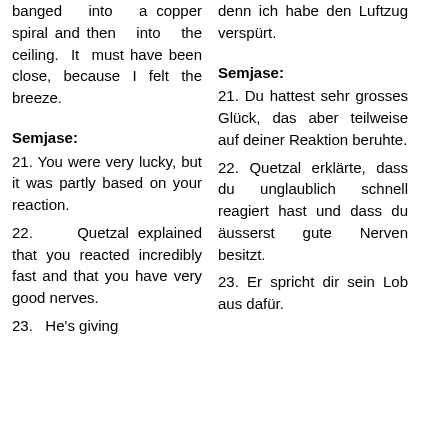banged into a copper spiral and then into the ceiling. It must have been close, because I felt the breeze.
denn ich habe den Luftzug verspürt.
Semjase:
Semjase:
21. You were very lucky, but it was partly based on your reaction.
21. Du hattest sehr grosses Glück, das aber teilweise auf deiner Reaktion beruhte.
22. Quetzal explained that you reacted incredibly fast and that you have very good nerves.
22. Quetzal erklärte, dass du unglaublich schnell reagiert hast und dass du äusserst gute Nerven besitzt.
23. He's giving
23. Er spricht dir sein Lob aus dafür.